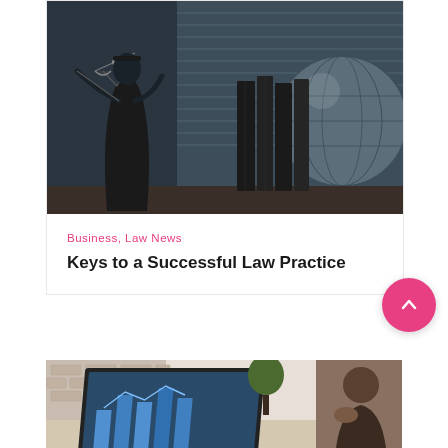[Figure (photo): Black and white photo of a Lady Justice statue with scales, law books, and a globe on a desk near window blinds]
Business, Law News
Keys to a Successful Law Practice
[Figure (photo): Photo of a person at a desk working on a laptop, with a brick wall background]